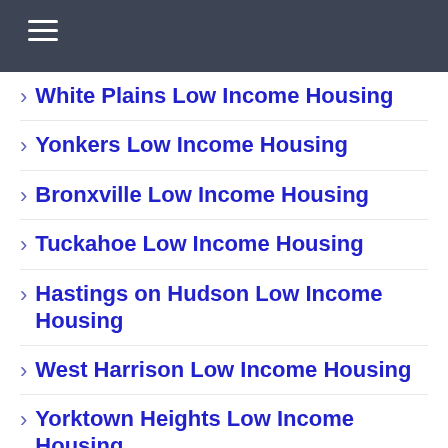Navigation menu header bar
White Plains Low Income Housing
Yonkers Low Income Housing
Bronxville Low Income Housing
Tuckahoe Low Income Housing
Hastings on Hudson Low Income Housing
West Harrison Low Income Housing
Yorktown Heights Low Income Housing
Waccabuc Low Income Housing
Verplanck Low Income Housing